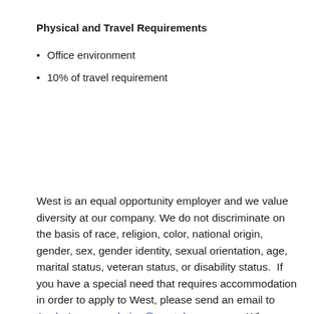Physical and Travel Requirements
Office environment
10% of travel requirement
West is an equal opportunity employer and we value diversity at our company. We do not discriminate on the basis of race, religion, color, national origin, gender, sex, gender identity, sexual orientation, age, marital status, veteran status, or disability status.  If you have a special need that requires accommodation in order to apply to West, please send an email to Apply.Accommodation@westpharma.com.  Where